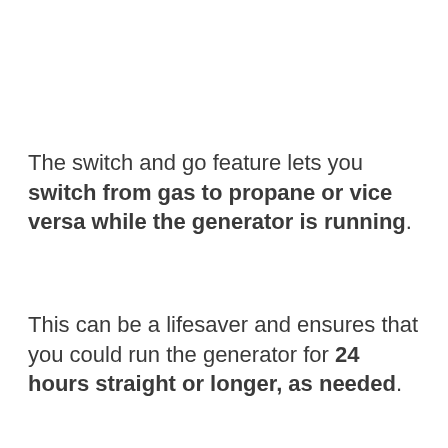The switch and go feature lets you switch from gas to propane or vice versa while the generator is running. This can be a lifesaver and ensures that you could run the generator for 24 hours straight or longer, as needed.